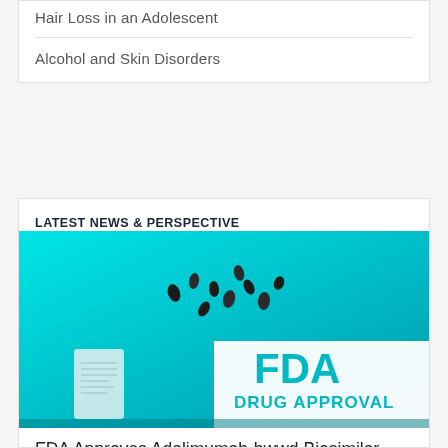Hair Loss in an Adolescent
Alcohol and Skin Disorders
LATEST NEWS & PERSPECTIVE
[Figure (photo): Cyan/teal-colored promotional image showing small dark medicine capsules/pills scattered on a surface next to a medication box, with a white overlay panel on the right displaying 'FDA DRUG APPROVAL' in teal text.]
FDA Approves Adalimumab-bwwd Biosimilar (Hadlima) in High-